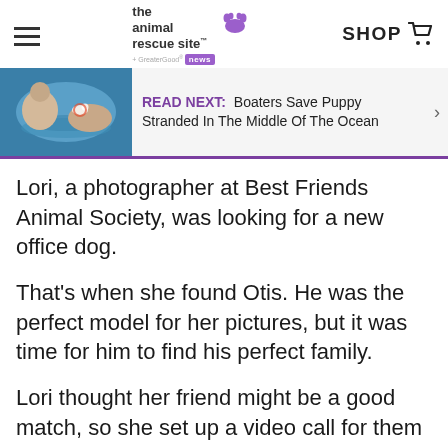the animal rescue site GreaterGood news | SHOP
[Figure (screenshot): READ NEXT: Boaters Save Puppy Stranded In The Middle Of The Ocean - navigation banner with thumbnail image of swimmers]
Lori, a photographer at Best Friends Animal Society, was looking for a new office dog.
That's when she found Otis. He was the perfect model for her pictures, but it was time for him to find his perfect family.
Lori thought her friend might be a good match, so she set up a video call for them